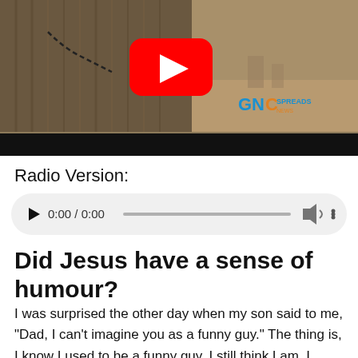[Figure (screenshot): YouTube video thumbnail showing a camel with a chain, desert background, YouTube play button overlay, GNC Spreads logo watermark in lower right, and a black bar at the bottom.]
Radio Version:
[Figure (screenshot): HTML5 audio player with play button, time display showing 0:00 / 0:00, a progress bar, volume icon, and more options icon, all on a grey rounded rectangle background.]
Did Jesus have a sense of humour?
I was surprised the other day when my son said to me, “Dad, I can’t imagine you as a funny guy.” The thing is, I know I used to be a funny guy. I still think I am. I wonder what went